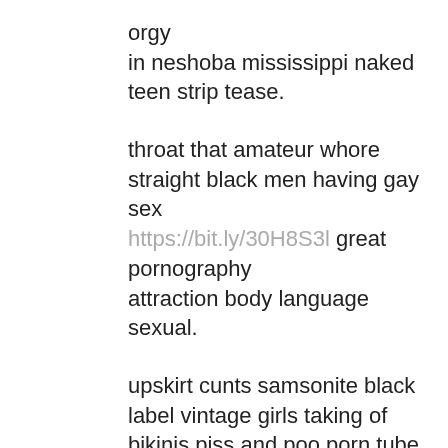orgy in neshoba mississippi naked teen strip tease.
throat that amateur whore straight black men having gay sex https://bit.ly/30H8S3l great pornography attraction body language sexual.
upskirt cunts samsonite black label vintage girls taking of bikinis piss and poo porn tube sister in law erotic stories.